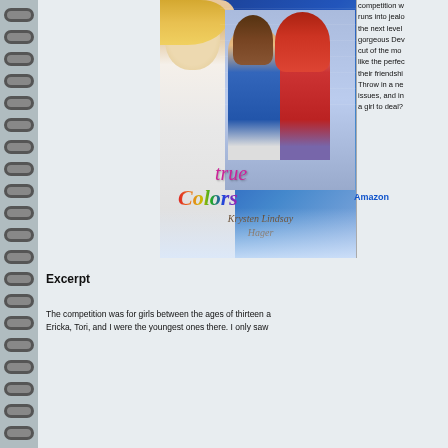[Figure (illustration): Book cover for 'True Colors' by Krysten Lindsay Hager showing three teenage girls and a blonde girl in foreground, with colorful title text and author name, against a blue gradient background. Notebook spiral binding visible on left side.]
competition w... runs into jealo... the next level... gorgeous Dev... cut of the moo... like the perfec... their friendshi... Throw in a ne... issues, and i... a girl to deal?
Amazon
Excerpt
The competition was for girls between the ages of thirteen a... Ericka, Tori, and I were the youngest ones there. I only saw...